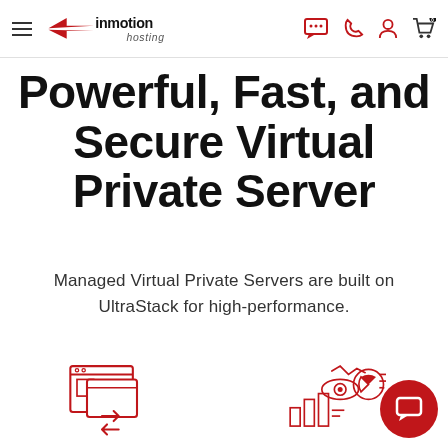inmotion hosting navigation bar
Powerful, Fast, and Secure Virtual Private Server
Managed Virtual Private Servers are built on UltraStack for high-performance.
[Figure (illustration): Red outline icon of a browser window with file transfer arrows (website migration illustration)]
Free Website Transfers
[Figure (illustration): Red outline icon of analytics charts, pie chart, and eye (resource management illustration)]
Easily Manage Resources
Our custom resource